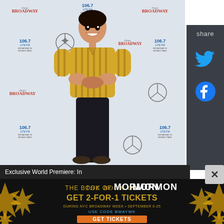[Figure (photo): Young man with dark hair, smiling, wearing a yellow/gold striped short-sleeve shirt and dark jeans, posing in front of an iHeart Radio Broadway and 106.7 Lite FM Bryant Park step-and-repeat backdrop with Mercedes-Benz logos]
[Figure (logo): Share panel on the right side with 'share' label, Twitter bird icon, and Facebook circle icon on dark gray background]
Exclusive World Premiere: In
[Figure (infographic): Advertisement for The Book of Mormon musical: 'GET 2-FOR-1 TICKETS DURING NYC BROADWAY WEEK • SEPTEMBER 6-25 USE CODE BWAYWK GET TICKETS' on dark background with gold starburst decorations]